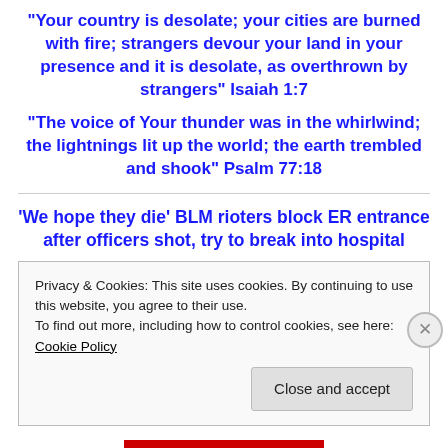“Your country is desolate; your cities are burned with fire; strangers devour your land in your presence and it is desolate, as overthrown by strangers” Isaiah 1:7
“The voice of Your thunder was in the whirlwind; the lightnings lit up the world; the earth trembled and shook” Psalm 77:18
‘We hope they die’ BLM rioters block ER entrance after officers shot, try to break into hospital
Privacy & Cookies: This site uses cookies. By continuing to use this website, you agree to their use.
To find out more, including how to control cookies, see here: Cookie Policy